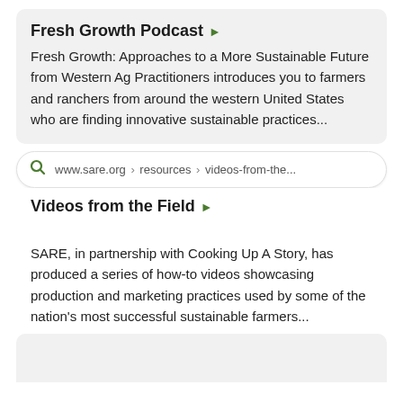Fresh Growth Podcast
Fresh Growth: Approaches to a More Sustainable Future from Western Ag Practitioners introduces you to farmers and ranchers from around the western United States who are finding innovative sustainable practices...
www.sare.org › resources › videos-from-the...
Videos from the Field
SARE, in partnership with Cooking Up A Story, has produced a series of how-to videos showcasing production and marketing practices used by some of the nation's most successful sustainable farmers...